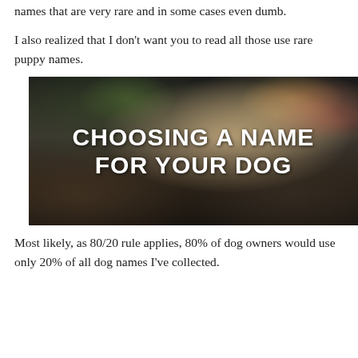names that are very rare and in some cases even dumb.
I also realized that I don't want you to read all those use rare puppy names.
[Figure (photo): Photo of a fluffy golden/white dog (puppy) with bokeh colorful lights in the background, with bold white text overlay reading 'CHOOSING A NAME FOR YOUR DOG']
Most likely, as 80/20 rule applies, 80% of dog owners would use only 20% of all dog names I've collected.